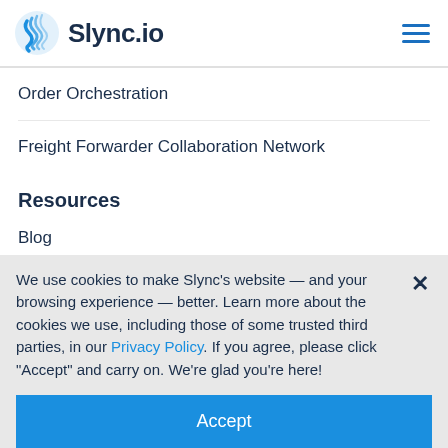Slync.io
Order Orchestration
Freight Forwarder Collaboration Network
Resources
Blog
Events & webinars
We use cookies to make Slync's website — and your browsing experience — better. Learn more about the cookies we use, including those of some trusted third parties, in our Privacy Policy. If you agree, please click "Accept" and carry on. We're glad you're here!